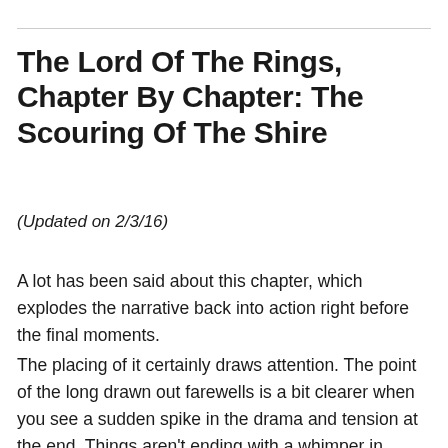The Lord Of The Rings, Chapter By Chapter: The Scouring Of The Shire
(Updated on 2/3/16)
A lot has been said about this chapter, which explodes the narrative back into action right before the final moments.
The placing of it certainly draws attention. The point of the long drawn out farewells is a bit clearer when you see a sudden spike in the drama and tension at the end. Things aren't ending with a whimper in Middle-Earth. Tolkien has been criticised for putting in multiple endings for his saga but I never really saw it that way. The book has multiple